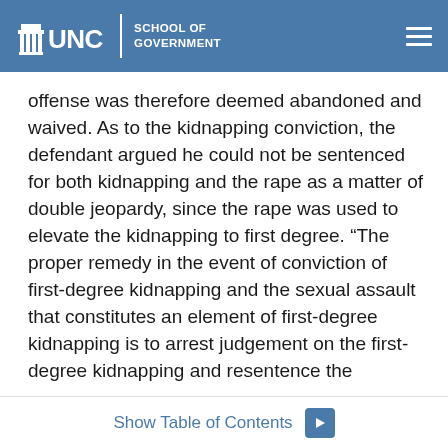UNC School of Government
offense was therefore deemed abandoned and waived. As to the kidnapping conviction, the defendant argued he could not be sentenced for both kidnapping and the rape as a matter of double jeopardy, since the rape was used to elevate the kidnapping to first degree. “The proper remedy in the event of conviction of first-degree kidnapping and the sexual assault that constitutes an element of first-degree kidnapping is to arrest judgement on the first-degree kidnapping and resentence the defendant for second-degree kidnapping.” Slip op. at 10-11 (citation omitted). While the defendant correctly noted this rule, the court found it inapplicable to the defendant’s case. The State’s evidence showed at least two distinct sexual assaults. In
Show Table of Contents